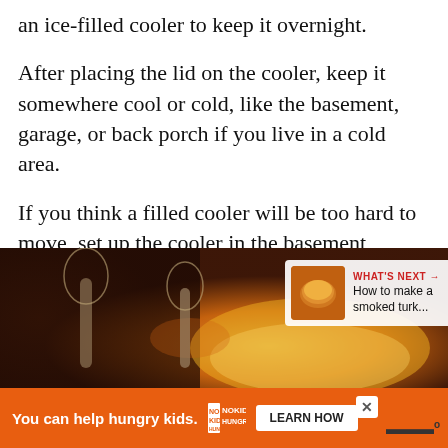an ice-filled cooler to keep it overnight.
After placing the lid on the cooler, keep it somewhere cool or cold, like the basement, garage, or back porch if you live in a cold area.
If you think a filled cooler will be too hard to move, set up the cooler in the basement, garage or porch first. Then bring out your turkey, brine, and ice bags – or brining bag and ice – to finish the job.
[Figure (photo): Photo of wine glasses and warm fireplace ambiance, with a 'What's Next' overlay showing a smoked turkey thumbnail and text 'How to make a smoked turk...']
[Figure (screenshot): Orange advertisement banner reading 'You can help hungry kids.' with No Kid Hungry logo and a 'LEARN HOW' button]